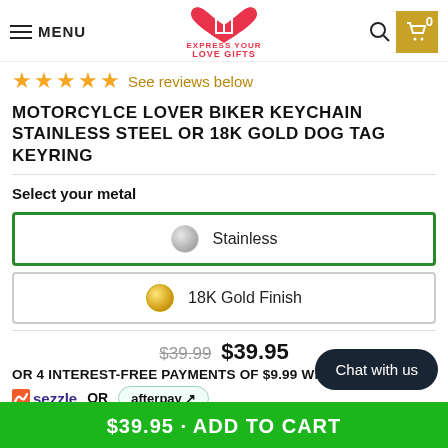MENU | Express Your Love Gifts | Search | Cart 0
★★★★★ See reviews below
MOTORCYLCE LOVER BIKER KEYCHAIN STAINLESS STEEL OR 18K GOLD DOG TAG KEYRING
Select your metal
Stainless
18K Gold Finish
$39.99  $39.95 OR 4 INTEREST-FREE PAYMENTS OF $9.99 WITH sezzle OR afterpay
Chat with us
$39.95 · ADD TO CART